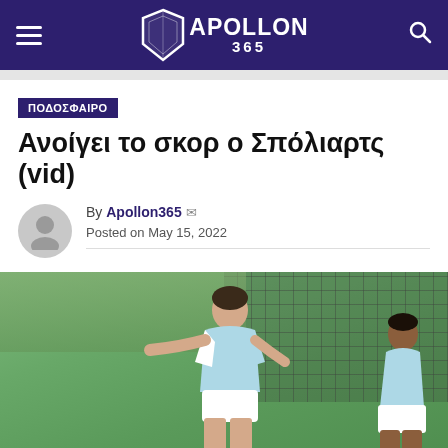APOLLON 365
ΠΟΔΟΣΦΑΙΡΟ
Ανοίγει το σκορ ο Σπόλιαρτς (vid)
By Apollon365 Posted on May 15, 2022
[Figure (photo): Football player in light blue and white jersey celebrating a goal with arms outstretched, with another player in the background, in front of a goal net with green stands visible]